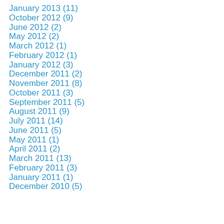January 2013 (11)
October 2012 (9)
June 2012 (2)
May 2012 (2)
March 2012 (1)
February 2012 (1)
January 2012 (3)
December 2011 (2)
November 2011 (8)
October 2011 (3)
September 2011 (5)
August 2011 (9)
July 2011 (14)
June 2011 (5)
May 2011 (1)
April 2011 (2)
March 2011 (13)
February 2011 (3)
January 2011 (1)
December 2010 (5)